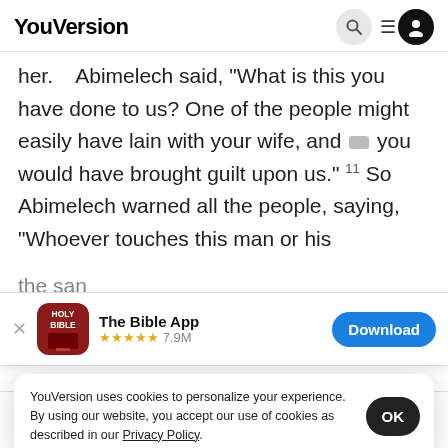YouVersion
her. Abimelech said, "What is this you have done to us? One of the people might easily have lain with your wife, and you would have brought guilt upon us." 11 So Abimelech warned all the people, saying, "Whoever touches this man or his
[Figure (screenshot): App store banner: The Bible App icon (red with HOLY BIBLE text and book icon), app name 'The Bible App', rating 5 stars 7.9M, Download button (blue)]
the sam
him, 13
YouVersion uses cookies to personalize your experience. By using our website, you accept our use of cookies as described in our Privacy Policy.
Home | Bible | Plans | Videos